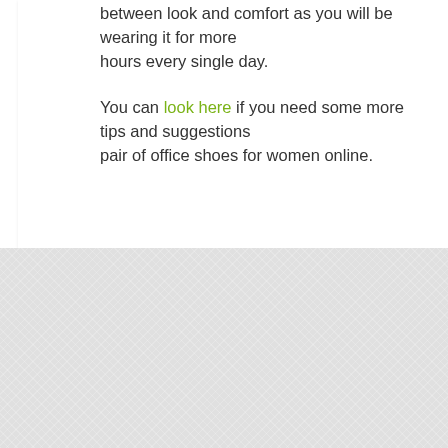between look and comfort as you will be wearing it for more hours every single day.
You can look here if you need some more tips and suggestions pair of office shoes for women online.